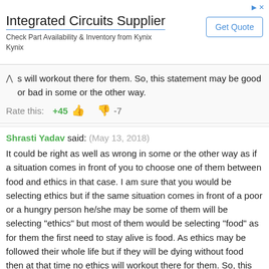[Figure (screenshot): Advertisement banner for Integrated Circuits Supplier showing 'Get Quote' button]
s will workout there for them. So, this statement may be good or bad in some or the other way.
Rate this: +45 👍 👎 -7
Shrasti Yadav said: (May 13, 2018)
It could be right as well as wrong in some or the other way as if a situation comes in front of you to choose one of them between food and ethics in that case. I am sure that you would be selecting ethics but if the same situation comes in front of a poor or a hungry person he/she may be some of them will be selecting "ethics" but most of them would be selecting "food" as for them the first need to stay alive is food. As ethics may be followed their whole life but if they will be dying without food then at that time no ethics will workout there for them. So, this statement may be good or bad in some or the other way.
Rate this: +45 👍 👎 -11